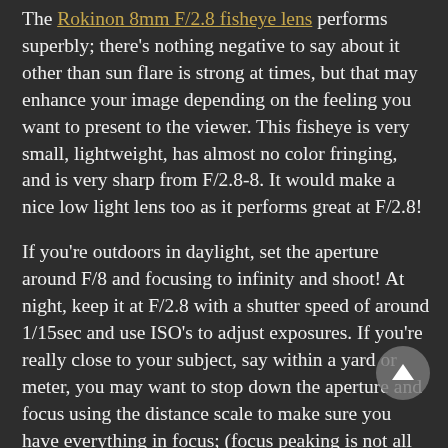The Rokinon 8mm F/2.8 fisheye lens performs superbly; there's nothing negative to say about it other than sun flare is strong at times, but that may enhance your image depending on the feeling you want to present to the viewer.  This fisheye is very small, lightweight, has almost no color fringing, and is very sharp from F/2.8-8.  It would make a nice low light lens too as it performs great at F/2.8!
If you're outdoors in daylight, set the aperture around F/8 and focusing to infinity and shoot!  At night, keep it at F/2.8 with a shutter speed of around 1/15sec and use ISO's to adjust exposures.  If you're really close to your subject, say within a yard or meter, you may want to stop down the aperture and focus using the distance scale to make sure you have everything in focus; (focus peaking is not all that effective with this lens due to the massive coverage and depth of field, but that's really a plus in this case).  As I explained in